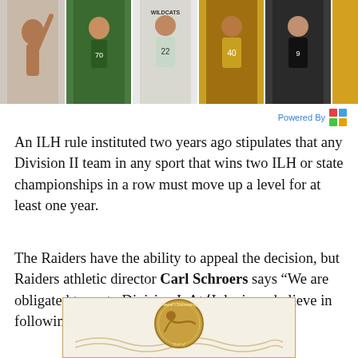[Figure (photo): Collage of student athletes in various sports — basketball, soccer, volleyball — in a horizontal banner strip at the top of the page.]
Powered By
An ILH rule instituted two years ago stipulates that any Division II team in any sport that wins two ILH or state championships in a row must move up a level for at least one year.
The Raiders have the ability to appeal the decision, but Raiders athletic director Carl Schroers says “We are obligated to go to Division I. At ʻIolani, we believe in following the rules.”
[Figure (photo): Hawaii Swimming Hall of Fame medallion/coin featuring a swimmer figure, partially visible at the bottom of the page.]